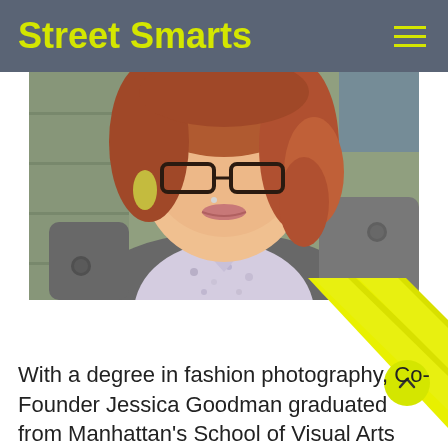Street Smarts
[Figure (photo): Close-up photograph of a young woman with red hair, wearing glasses, a floral shirt, and a grey jacket with buttons. She is smiling slightly.]
[Figure (illustration): Decorative yellow diagonal parallel stripe lines element in the bottom-right area below the photo.]
With a degree in fashion photography, Co-Founder Jessica Goodman graduated from Manhattan's School of Visual Arts long enough ago that she's unwilling to